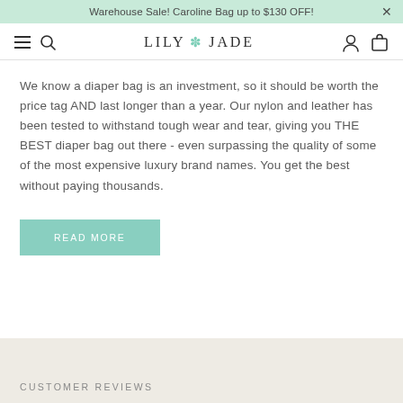Warehouse Sale! Caroline Bag up to $130 OFF!
[Figure (screenshot): Lily Jade website navigation bar with hamburger menu, search icon, Lily Jade logo with flower, user account icon, and shopping bag icon]
We know a diaper bag is an investment, so it should be worth the price tag AND last longer than a year. Our nylon and leather has been tested to withstand tough wear and tear, giving you THE BEST diaper bag out there - even surpassing the quality of some of the most expensive luxury brand names. You get the best without paying thousands.
READ MORE
CUSTOMER REVIEWS